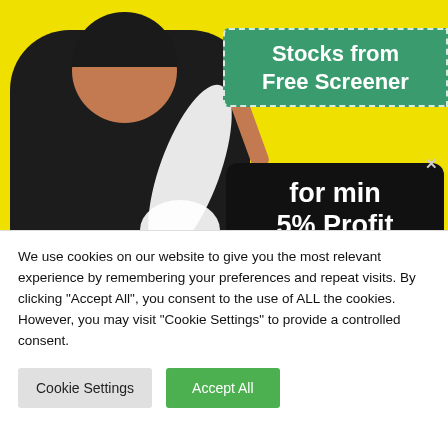[Figure (screenshot): YouTube thumbnail showing a man in a black sleeveless shirt on yellow background, with a green banner reading 'Stocks from Free Screener' and a black box reading 'for min 5% Profit'. MACD TRADER watermark visible.]
MACD Crossover Below Zero Line Chartink, How to Pick Stock for Min 5% Profit from a Free Screener
We use cookies on our website to give you the most relevant experience by remembering your preferences and repeat visits. By clicking "Accept All", you consent to the use of ALL the cookies. However, you may visit "Cookie Settings" to provide a controlled consent.